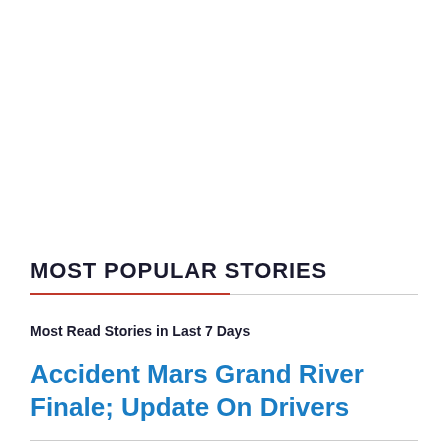MOST POPULAR STORIES
Most Read Stories in Last 7 Days
Accident Mars Grand River Finale; Update On Drivers